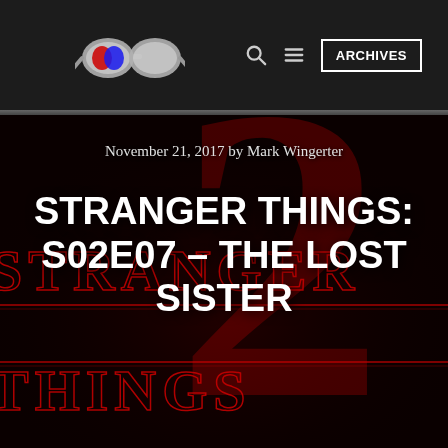ARCHIVES (navigation bar with logo, search, menu, archives button)
[Figure (photo): Stranger Things Season 2 promotional art — dark red background with glowing red '2' numeral and 'STRANGER THINGS' text in neon red, serving as a hero image for the article]
November 21, 2017 by Mark Wingerter
STRANGER THINGS: S02E07 – THE LOST SISTER